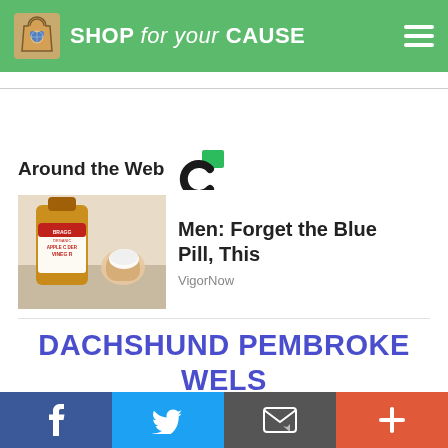SHOP for your CAUSE
Around the Web
[Figure (photo): Bragg Organic Apple Cider Vinegar bottle being held with a small white cup/lid]
Men: Forget the Blue Pill, This
VigorNow
DACHSHUND PEMBROKE WELS CORGI MIX HISTORY
Facebook | Twitter | Email | Plus